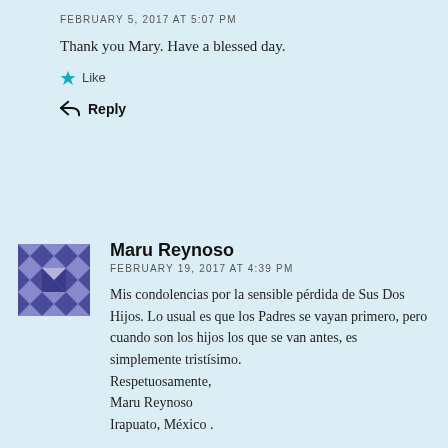FEBRUARY 5, 2017 AT 5:07 PM
Thank you Mary. Have a blessed day.
Like
Reply
Maru Reynoso
FEBRUARY 19, 2017 AT 4:39 PM
Mis condolencias por la sensible pérdida de Sus Dos Hijos. Lo usual es que los Padres se vayan primero, pero cuando son los hijos los que se van antes, es simplemente tristísimo. Respetuosamente, Maru Reynoso Irapuato, México .